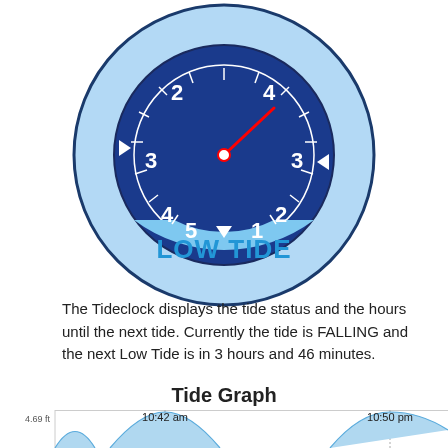[Figure (infographic): Tide clock diagram showing a circular clock face with dark blue center and light blue outer ring. Numbers 1-5 on lower half, 2-4 on upper half. A red hand points toward the 4. White arrows circle the outer ring. A downward white arrow at bottom points to 'LOW TIDE' text in blue on the lower segment.]
The Tideclock displays the tide status and the hours until the next tide. Currently the tide is FALLING and the next Low Tide is in 3 hours and 46 minutes.
Tide Graph
[Figure (area-chart): Tide graph showing wave-like area chart with light blue fill. Y-axis label 'height', value '4.69 ft' marked. Two peak labels: '10:42 am' and '10:50 pm' with vertical lines at peaks.]